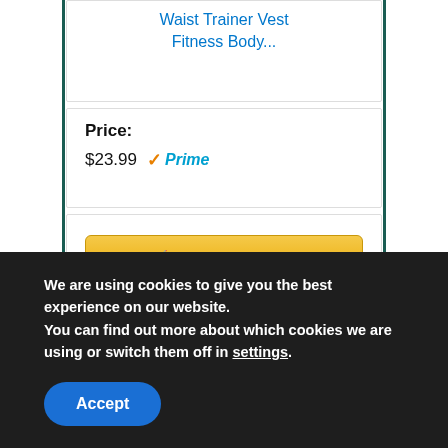Waist Trainer Vest Fitness Body...
Price: $23.99 Prime
Buy on Amazon
Bestseller No. 9
[Figure (photo): Woman wearing a gray sports bra/fitness top, cropped view of torso and neck]
We are using cookies to give you the best experience on our website.
You can find out more about which cookies we are using or switch them off in settings.
Accept